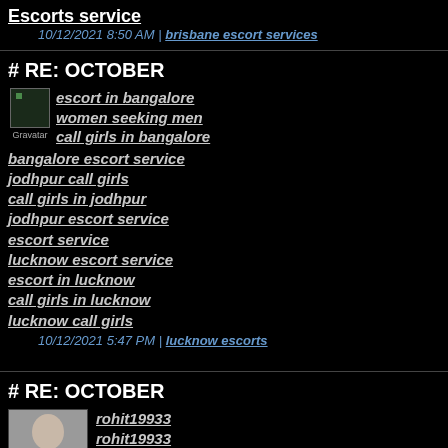Escorts service
10/12/2021 8:50 AM | brisbane escort services
# RE: OCTOBER
escort in bangalore
women seeking men
call girls in bangalore
bangalore escort service
jodhpur call girls
call girls in jodhpur
jodhpur escort service
escort service
lucknow escort service
escort in lucknow
call girls in lucknow
lucknow call girls
10/12/2021 5:47 PM | lucknow escorts
# RE: OCTOBER
rohit19933
rohit19933
rohit19933
rohit19933
rohit19933
rohit19933
rohit19933